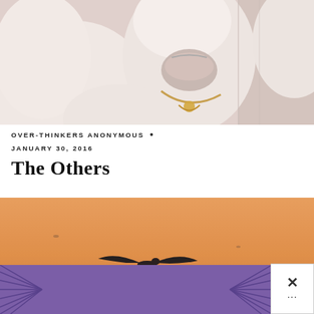[Figure (photo): White sculptural masks or mannequin heads displayed against a building facade, one with a gold necklace/chain detail]
OVER-THINKERS ANONYMOUS •
JANUARY 30, 2016
The Others
[Figure (photo): A bird in flight silhouetted against an orange/amber hazy sky]
[Figure (photo): Advertisement banner: 'This isn't forever. It's just right now.' in pink italic text on purple background with starburst graphic design]